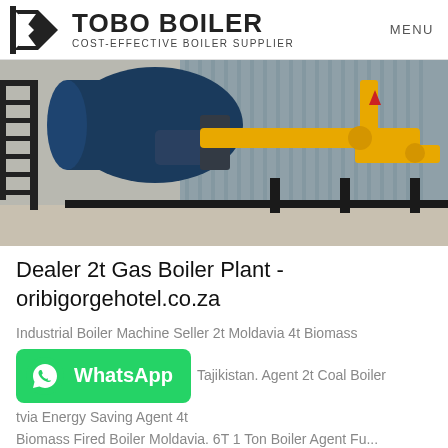TOBO BOILER COST-EFFECTIVE BOILER SUPPLIER | MENU
[Figure (photo): Industrial boiler plant with large blue cylindrical boiler tank, yellow gas pipes, black metal staircase, inside a corrugated metal building with concrete floor.]
Dealer 2t Gas Boiler Plant - oribigorgehotel.co.za
Industrial Boiler Machine Seller 2t Moldavia 4t Biomass ... Tajikistan. Agent 2t Coal Boiler ... tvia Energy Saving Agent 4t Biomass Fired Boiler Moldavia. 6T 1 Ton Boiler Agent Fu...